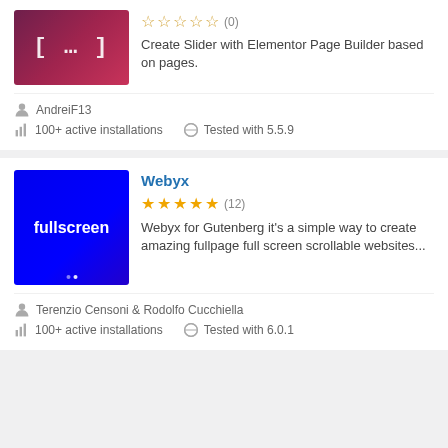[Figure (screenshot): Plugin card (top, partial): gradient pink/purple image with bracket [...] icon. Text: 'Create Slider with Elementor Page Builder based on pages.' Stars: 0 ratings (0). Author: AndreiF13. 100+ active installations. Tested with 5.5.9.]
Create Slider with Elementor Page Builder based on pages.
AndreiF13
100+ active installations
Tested with 5.5.9
Webyx
[Figure (screenshot): Blue fullscreen plugin logo with white text 'fullscreen' and small dots at bottom.]
Webyx for Gutenberg it's a simple way to create amazing fullpage full screen scrollable websites...
Terenzio Censoni & Rodolfo Cucchiella
100+ active installations
Tested with 6.0.1